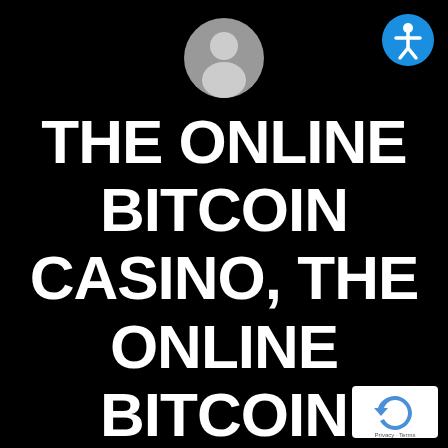[Figure (illustration): Gray user/avatar icon in a circle, centered near top of page]
[Figure (illustration): Blue accessibility icon (person with arms out in circle) in top right corner]
THE ONLINE BITCOIN CASINO, THE ONLINE BITCOIN CASINO NO
[Figure (illustration): Google reCAPTCHA badge in bottom right corner with Privacy and Terms links]